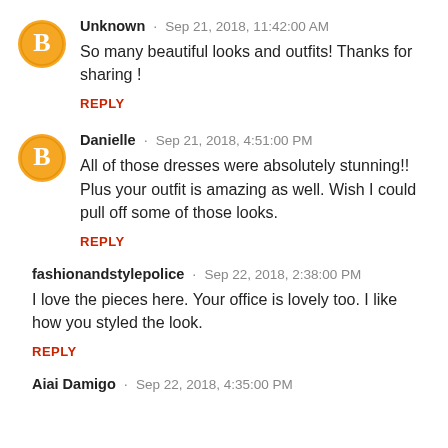Unknown · Sep 21, 2018, 11:42:00 AM
So many beautiful looks and outfits! Thanks for sharing !
REPLY
Danielle · Sep 21, 2018, 4:51:00 PM
All of those dresses were absolutely stunning!! Plus your outfit is amazing as well. Wish I could pull off some of those looks.
REPLY
fashionandstylepolice · Sep 22, 2018, 2:38:00 PM
I love the pieces here. Your office is lovely too. I like how you styled the look.
REPLY
Aiai Damigo · Sep 22, 2018, 4:35:00 PM